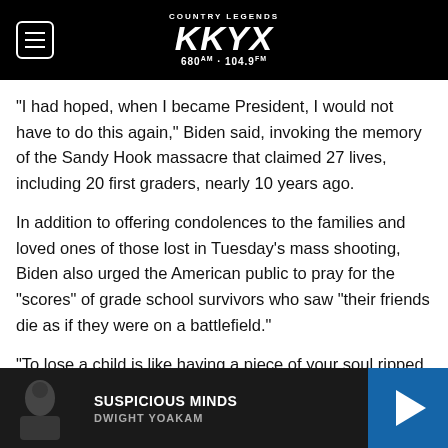COUNTRY LEGENDS KKYX 680AM · 104.9FM
“I had hoped, when I became President, I would not have to do this again,” Biden said, invoking the memory of the Sandy Hook massacre that claimed 27 lives, including 20 first graders, nearly 10 years ago.
In addition to offering condolences to the families and loved ones of those lost in Tuesday’s mass shooting, Biden also urged the American public to pray for the “scores” of grade school survivors who saw “their friends die as if they were on a battlefield.”
“To lose a child is like having a piece of your soul ripped away,” Biden said, calling that unique grief
[Figure (other): Music player bar showing album art thumbnail (black and white photo), track title SUSPICIOUS MINDS by DWIGHT YOAKAM, and a blue play button on the right.]